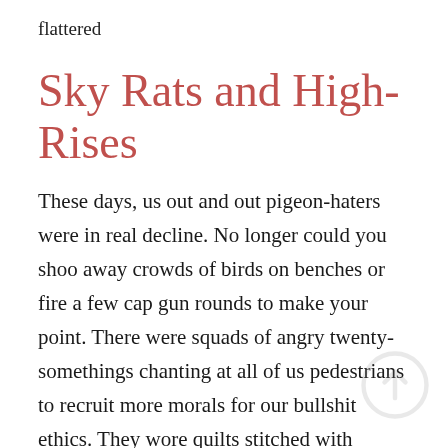flattered
Sky Rats and High-Rises
These days, us out and out pigeon-haters were in real decline. No longer could you shoo away crowds of birds on benches or fire a few cap gun rounds to make your point. There were squads of angry twenty-somethings chanting at all of us pedestrians to recruit more morals for our bullshit ethics. They wore quilts stitched with phrases like, “Fine Feathered Friends” and needlepoint images of what were clearly meant to be us Upper East Side regulars draped in coats of grey-black feathers. One of the main images